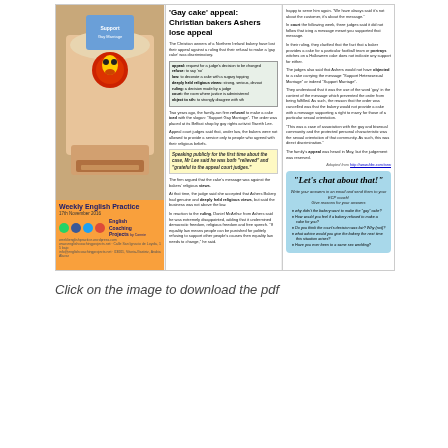[Figure (screenshot): Weekly English Practice document page about 'Gay cake' appeal: Christian bakers Ashers lose appeal. Contains cake photo, article text, vocabulary box, highlighted quote, right-side commentary, 'Let's chat about that!' discussion questions, and ECP branding.]
Click on the image to download the pdf